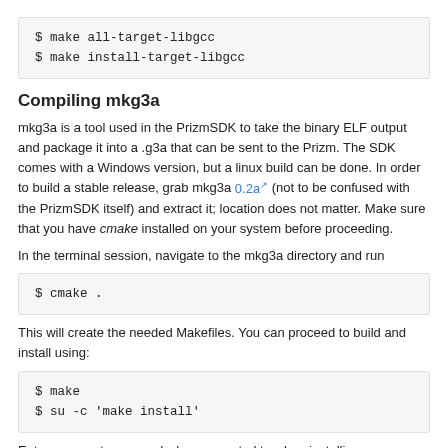$ make all-target-libgcc
$ make install-target-libgcc
Compiling mkg3a
mkg3a is a tool used in the PrizmSDK to take the binary ELF output and package it into a .g3a that can be sent to the Prizm. The SDK comes with a Windows version, but a linux build can be done. In order to build a stable release, grab mkg3a 0.2a (not to be confused with the PrizmSDK itself) and extract it; location does not matter. Make sure that you have cmake installed on your system before proceeding.
In the terminal session, navigate to the mkg3a directory and run
$ cmake .
This will create the needed Makefiles. You can proceed to build and install using:
$ make
$ su -c 'make install'
Enter your root password when prompted to when installing.